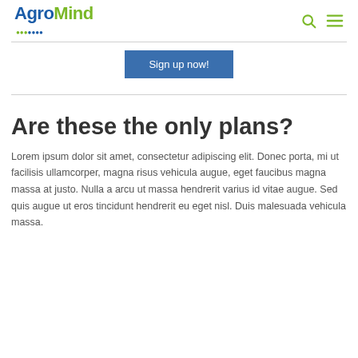AgroMind
[Figure (other): Sign up now! button — a blue rectangular button with white text]
Are these the only plans?
Lorem ipsum dolor sit amet, consectetur adipiscing elit. Donec porta, mi ut facilisis ullamcorper, magna risus vehicula augue, eget faucibus magna massa at justo. Nulla a arcu ut massa hendrerit varius id vitae augue. Sed quis augue ut eros tincidunt hendrerit eu eget nisl. Duis malesuada vehicula massa.